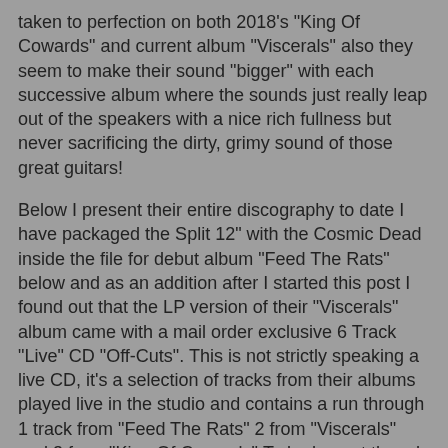taken to perfection on both 2018's "King Of Cowards" and current album "Viscerals" also they seem to make their sound "bigger" with each successive album where the sounds just really leap out of the speakers with a nice rich fullness but never sacrificing the dirty, grimy sound of those great guitars!
Below I present their entire discography to date I have packaged the Split 12" with the Cosmic Dead inside the file for debut album "Feed The Rats" below and as an addition after I started this post I found out that the LP version of their "Viscerals" album came with a mail order exclusive 6 Track "Live" CD "Off-Cuts". This is not strictly speaking a live CD, it's a selection of tracks from their albums played live in the studio and contains a run through 1 track from "Feed The Rats" 2 from "Viscerals" and 3 from "King Of Cowards".To be honest though as there's no crowd, no mistakes or feedback or chance occurrences and also as they are pretty consistent in their sound there's not a great deal of difference to these ears between the versions on "Off-Cuts" and the album versions but as it's a hard to find thing I decided I'd put it here so the discography is complete!